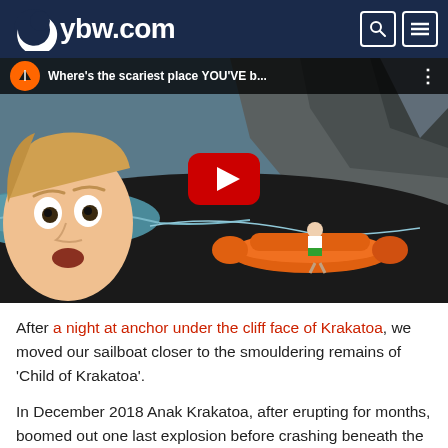ybw.com
[Figure (screenshot): YouTube video thumbnail showing a person with wide eyes in the foreground, an orange inflatable dinghy on a dark volcanic beach with cliffs in the background, with the title 'Where's the scariest place YOU'VE b...']
After a night at anchor under the cliff face of Krakatoa, we moved our sailboat closer to the smouldering remains of 'Child of Krakatoa'.
In December 2018 Anak Krakatoa, after erupting for months, boomed out one last explosion before crashing beneath the waves. The resulting tsunami destroyed much of the coast of